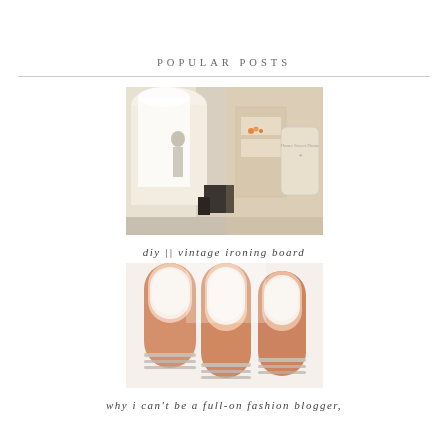POPULAR POSTS
[Figure (photo): Interior photo of a salon or boutique with an arched doorway, a figure in the background, and a vintage ironing board on the wall with decorative text.]
diy || vintage ironing board
[Figure (photo): Close-up photo of hands with natural nails and stacked thin silver rings on the fingers.]
why i can't be a full-on fashion blogger,